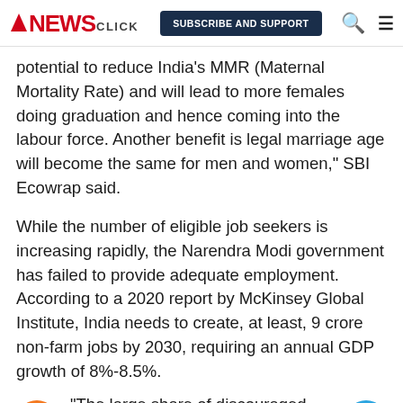NEWSCLICK | SUBSCRIBE AND SUPPORT
potential to reduce India's MMR (Maternal Mortality Rate) and will lead to more females doing graduation and hence coming into the labour force. Another benefit is legal marriage age will become the same for men and women," SBI Ecowrap said.
While the number of eligible job seekers is increasing rapidly, the Narendra Modi government has failed to provide adequate employment. According to a 2020 report by McKinsey Global Institute, India needs to create, at least, 9 crore non-farm jobs by 2030, requiring an annual GDP growth of 8%-8.5%.
"The large share of discouraged workers suggests